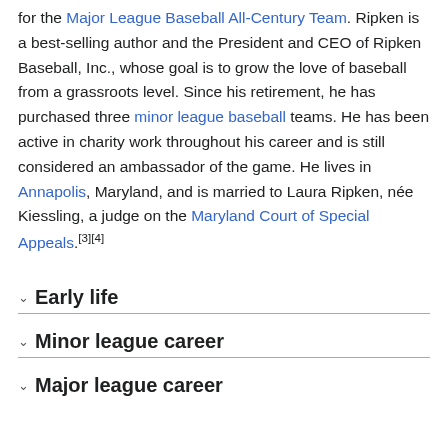for the Major League Baseball All-Century Team. Ripken is a best-selling author and the President and CEO of Ripken Baseball, Inc., whose goal is to grow the love of baseball from a grassroots level. Since his retirement, he has purchased three minor league baseball teams. He has been active in charity work throughout his career and is still considered an ambassador of the game. He lives in Annapolis, Maryland, and is married to Laura Ripken, née Kiessling, a judge on the Maryland Court of Special Appeals.[3][4]
Early life
Minor league career
Major league career